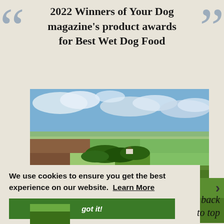2022 Winners of Your Dog magazine's product awards for Best Wet Dog Food
[Figure (photo): Aerial landscape photo showing green fields, hedgerows, rolling countryside, a farmhouse nestled among trees, and a partly cloudy blue sky]
We use cookies to ensure you get the best experience on our website.  Learn More
got it!
back
 to top